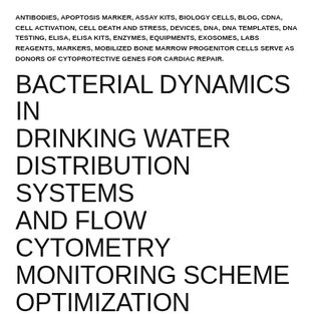ANTIBODIES, APOPTOSIS MARKER, ASSAY KITS, BIOLOGY CELLS, BLOG, CDNA, CELL ACTIVATION, CELL DEATH AND STRESS, DEVICES, DNA, DNA TEMPLATES, DNA TESTING, ELISA, ELISA KITS, ENZYMES, EQUIPMENTS, EXOSOMES, LABS REAGENTS, MARKERS, MOBILIZED BONE MARROW PROGENITOR CELLS SERVE AS DONORS OF CYTOPROTECTIVE GENES FOR CARDIAC REPAIR.
BACTERIAL DYNAMICS IN DRINKING WATER DISTRIBUTION SYSTEMS AND FLOW CYTOMETRY MONITORING SCHEME OPTIMIZATION
APRIL 7, 2021
Water biostability is desired inside ingesting water distribution programs (DWDSs) to restrict microbiologically-related operational, aesthetic and, ultimately, health-related